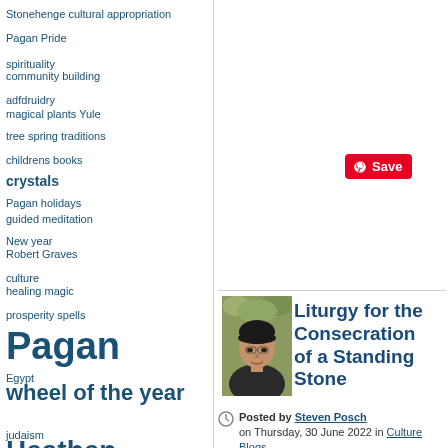Stonehenge cultural appropriation
Pagan Pride
spirituality
community building
adfdruidry
magical plants
Yule tree
spring traditions
childrens books
crystals
Pagan holidays
guided meditation
New year
Robert Graves
culture
healing magic
prosperity spells
Pagan
Egypt
wheel of the year
judaism
Heathen
[Figure (other): Save button with Pinterest icon]
[Figure (photo): Author photo of Steven Posch - a man with dark hair outdoors with green foliage]
Liturgy for the Consecration of a Standing Stone
Posted by Steven Posch on Thursday, 30 June 2022 in Culture Blogs